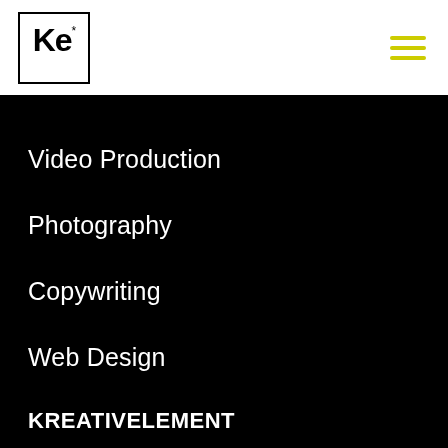Ke* [logo] [hamburger menu]
graphy (partially visible)
Video Production
Photography
Copywriting
Web Design
KREATIVELEMENT
About
Our Work
Our Specialties